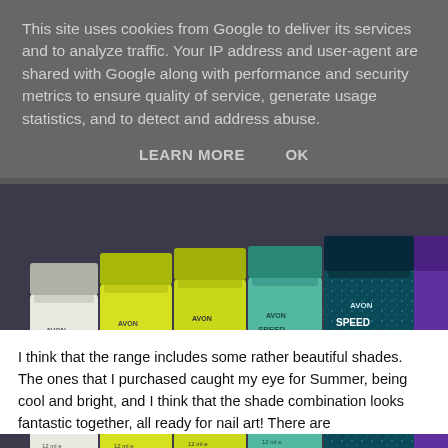This site uses cookies from Google to deliver its services and to analyze traffic. Your IP address and user-agent are shared with Google along with performance and security metrics to ensure quality of service, generate usage statistics, and to detect and address abuse.
LEARN MORE    OK
[Figure (photo): Several bottles of Avon Speed Dry 30 nail polish in a row, showing colors from white/light gray on the left to yellow-green, green, teal/aqua, dark teal with glitter, and purple on the right. Each bottle shows 'AVON SPEED DRY 30' and '12 ml e' label.]
I think that the range includes some rather beautiful shades. The ones that I purchased caught my eye for Summer, being cool and bright, and I think that the shade combination looks fantastic together, all ready for nail art! There are